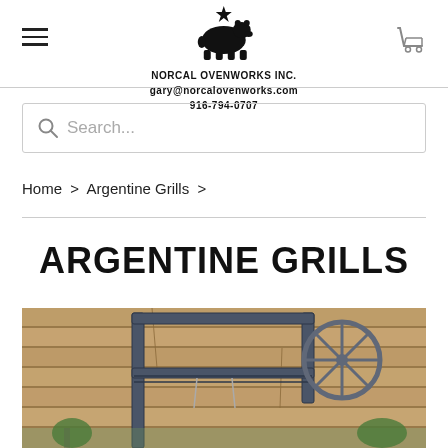NORCAL OVENWORKS INC. gary@norcalovenworks.com 916-794-0707
Search...
Home > Argentine Grills >
ARGENTINE GRILLS
[Figure (photo): Argentine grill with blue metal frame and wheel crank mechanism in front of a wood plank wall, with plants in background]